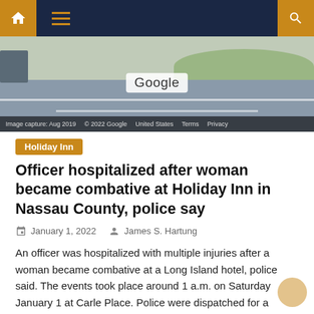Navigation bar with home, menu, and search icons
[Figure (photo): Google Street View screenshot showing a road/highway scene. Google watermark in center. Bottom bar shows: Image capture: Aug 2019  © 2022 Google  United States  Terms  Privacy]
Holiday Inn
Officer hospitalized after woman became combative at Holiday Inn in Nassau County, police say
January 1, 2022   James S. Hartung
An officer was hospitalized with multiple injuries after a woman became combative at a Long Island hotel, police said. The events took place around 1 a.m. on Saturday January 1 at Carle Place. Police were dispatched for a disturbance that had occurred at the Holiday Inn located at 369 Old Country Road. Shortly after police [...]